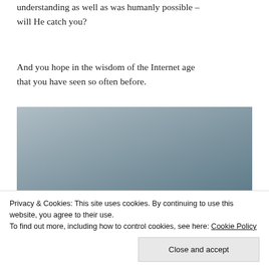understanding as well as was humanly possible – will He catch you?
And you hope in the wisdom of the Internet age that you have seen so often before.
[Figure (photo): Sky with clouds background image containing a white cursive/script text quote: "When God pushes you to the edge of difficulty, trust Him fully because two things can happen: either He'll catch you when you fall, or He'll teach you how to fly!"]
Privacy & Cookies: This site uses cookies. By continuing to use this website, you agree to their use.
To find out more, including how to control cookies, see here: Cookie Policy
[Close and accept button]